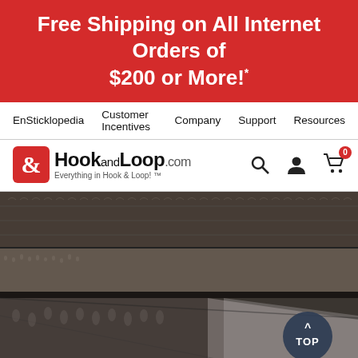Free Shipping on All Internet Orders of $200 or More!*
EnSticklopedia  Customer Incentives  Company  Support  Resources
[Figure (logo): HookandLoop.com logo with red icon and tagline 'Everything in Hook & Loop! TM', plus search, user, and cart icons]
[Figure (photo): Close-up macro photo of hook and loop (Velcro-style) fastener fabric strips in dark grey/brown tones, showing texture of hooks and loops]